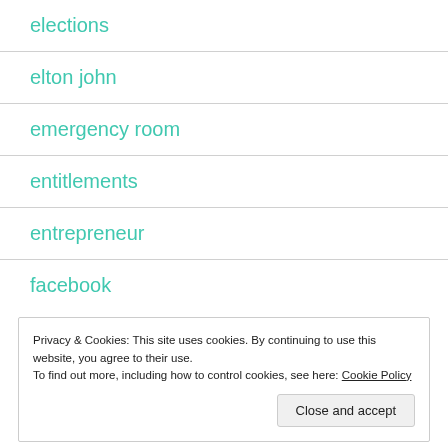elections
elton john
emergency room
entitlements
entrepreneur
facebook
Privacy & Cookies: This site uses cookies. By continuing to use this website, you agree to their use.
To find out more, including how to control cookies, see here: Cookie Policy
Close and accept